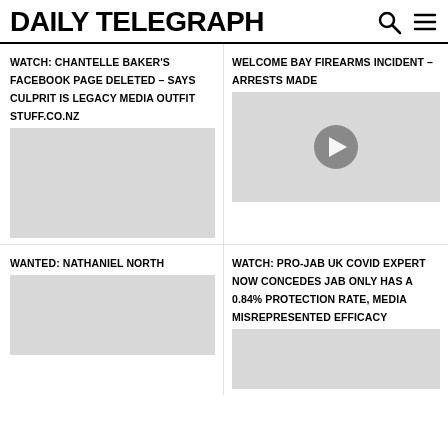DAILY TELEGRAPH
WATCH: CHANTELLE BAKER'S FACEBOOK PAGE DELETED – SAYS CULPRIT IS LEGACY MEDIA OUTFIT STUFF.CO.NZ
WELCOME BAY FIREARMS INCIDENT – ARRESTS MADE
[Figure (other): Grey thumbnail image placeholder for left article]
[Figure (other): Grey thumbnail with video play button overlay for right article]
WANTED: NATHANIEL NORTH
WATCH: PRO-JAB UK COVID EXPERT NOW CONCEDES JAB ONLY HAS A 0.84% PROTECTION RATE, MEDIA MISREPRESENTED EFFICACY
[Figure (other): Grey thumbnail image placeholder for bottom left article]
[Figure (other): Grey thumbnail image placeholder for bottom right article]